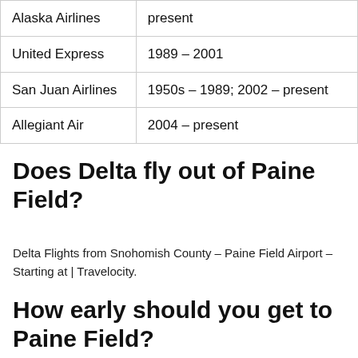| Alaska Airlines | present |
| United Express | 1989 – 2001 |
| San Juan Airlines | 1950s – 1989; 2002 – present |
| Allegiant Air | 2004 – present |
Does Delta fly out of Paine Field?
Delta Flights from Snohomish County – Paine Field Airport – Starting at | Travelocity.
How early should you get to Paine Field?